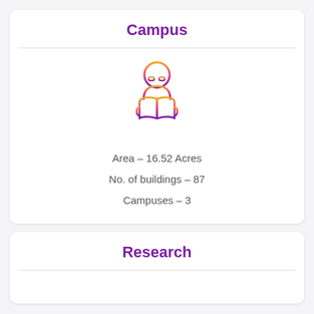Campus
[Figure (illustration): Icon of a person with glasses reading an open book, rendered as a gradient illustration from orange at the top to purple at the bottom.]
Area – 16.52 Acres
No. of buildings – 87
Campuses – 3
Research